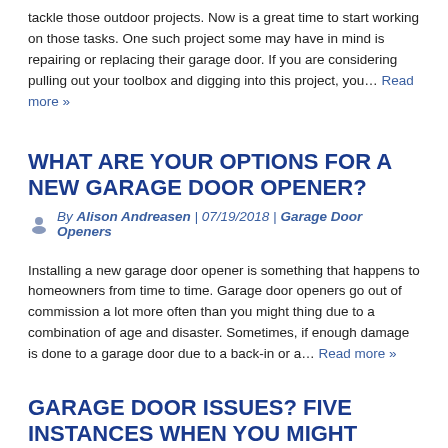tackle those outdoor projects. Now is a great time to start working on those tasks. One such project some may have in mind is repairing or replacing their garage door. If you are considering pulling out your toolbox and digging into this project, you… Read more »
WHAT ARE YOUR OPTIONS FOR A NEW GARAGE DOOR OPENER?
By Alison Andreasen | 07/19/2018 | Garage Door Openers
Installing a new garage door opener is something that happens to homeowners from time to time. Garage door openers go out of commission a lot more often than you might thing due to a combination of age and disaster. Sometimes, if enough damage is done to a garage door due to a back-in or a… Read more »
GARAGE DOOR ISSUES? FIVE INSTANCES WHEN YOU MIGHT NEED TO CALL IN A PROFESSIONAL